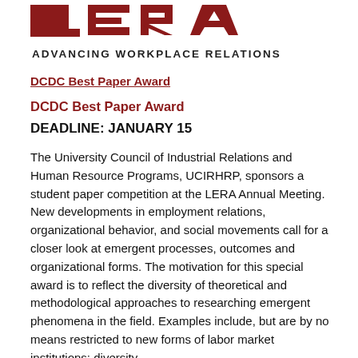[Figure (logo): LERA logo — stylized letters L E R A in dark red/maroon block shapes above the text ADVANCING WORKPLACE RELATIONS]
DCDC Best Paper Award
DCDC Best Paper Award
DEADLINE: JANUARY 15
The University Council of Industrial Relations and Human Resource Programs, UCIRHRP, sponsors a student paper competition at the LERA Annual Meeting. New developments in employment relations, organizational behavior, and social movements call for a closer look at emergent processes, outcomes and organizational forms. The motivation for this special award is to reflect the diversity of theoretical and methodological approaches to researching emergent phenomena in the field. Examples include, but are by no means restricted to new forms of labor market institutions; diversity